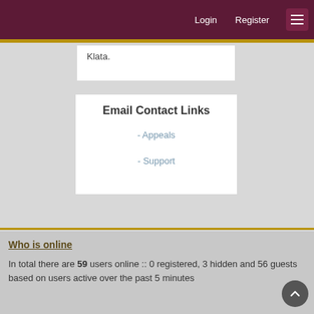Login   Register
Klata.
Email Contact Links
- Appeals
- Support
Who is online
In total there are 59 users online :: 0 registered, 3 hidden and 56 guests
based on users active over the past 5 minutes